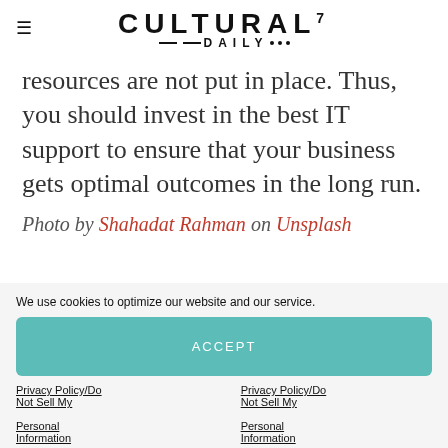Cultural Daily (logo with hamburger menu)
resources are not put in place. Thus, you should invest in the best IT support to ensure that your business gets optimal outcomes in the long run.
Photo by Shahadat Rahman on Unsplash
We use cookies to optimize our website and our service.
ACCEPT
Privacy Policy/Do Not Sell My Personal Information
Privacy Policy/Do Not Sell My Personal Information